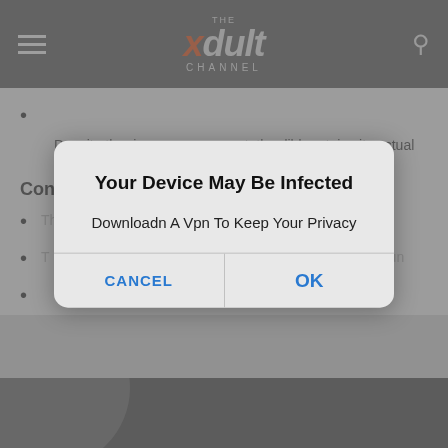[Figure (screenshot): Website navigation bar with hamburger menu, xdult channel logo in orange/grey, and search icon on dark background]
Despite the rigorous movement, the dildo retains its actual sha...
Cons
The action can cause an overtime of wear and tear...
The dildo has a strong suction ability and you will encounter...
...
[Figure (screenshot): Mobile dialog popup: 'Your Device May Be Infected' with message 'Downloadn A Vpn To Keep Your Privacy' and CANCEL / OK buttons]